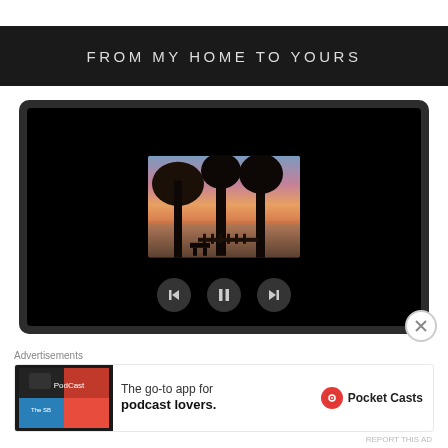FROM MY HOME TO YOURS
[Figure (screenshot): Video player with a small thumbnail showing palm trees at sunset over water, with playback controls (back, pause, forward) at the bottom]
Advertisements
[Figure (other): Pocket Casts advertisement banner: colorful app icon on left, text 'The go-to app for podcast lovers.' in the center, Pocket Casts logo and brand name on right]